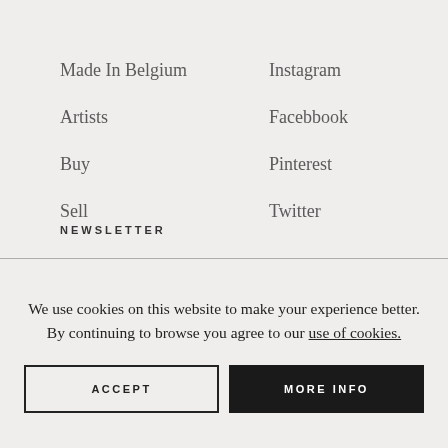Made In Belgium
Artists
Buy
Sell
Instagram
Facebbook
Pinterest
Twitter
NEWSLETTER
We use cookies on this website to make your experience better. By continuing to browse you agree to our use of cookies.
ACCEPT
MORE INFO